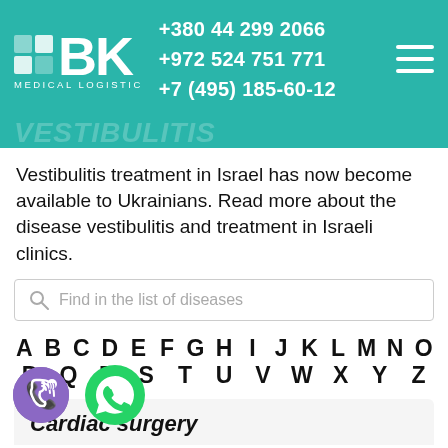BK MEDICAL LOGISTIC | +380 44 299 2066 | +972 524 751 771 | +7 (495) 185-60-12
Vestibulitis treatment in Israel has now become available to Ukrainians. Read more about the disease vestibulitis and treatment in Israeli clinics.
Find in the list of diseases
A B C D E F G H I J K L M N O P Q R S T U V W X Y Z
[Figure (logo): Viber logo icon - purple circle with phone handset]
[Figure (logo): WhatsApp logo icon - green circle with phone handset]
Cardiac surgery